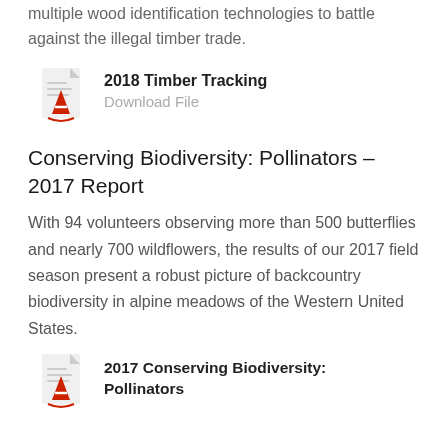multiple wood identification technologies to battle against the illegal timber trade.
[Figure (other): PDF file icon in red and grey]
2018 Timber Tracking
Download File
Conserving Biodiversity: Pollinators – 2017 Report
With 94 volunteers observing more than 500 butterflies and nearly 700 wildflowers, the results of our 2017 field season present a robust picture of backcountry biodiversity in alpine meadows of the Western United States.
[Figure (other): PDF file icon in red and grey]
2017 Conserving Biodiversity: Pollinators